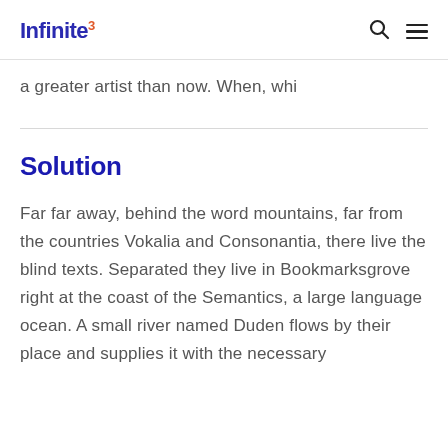Infinite³
a greater artist than now. When, whi
Solution
Far far away, behind the word mountains, far from the countries Vokalia and Consonantia, there live the blind texts. Separated they live in Bookmarksgrove right at the coast of the Semantics, a large language ocean. A small river named Duden flows by their place and supplies it with the necessary